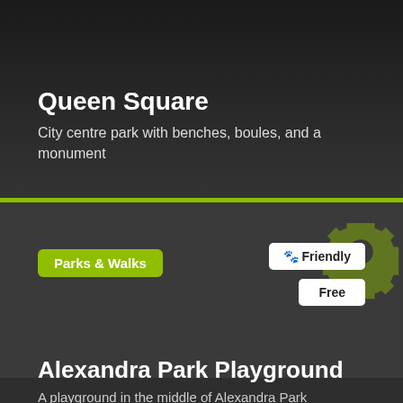Queen Square
City centre park with benches, boules, and a monument
Parks & Walks
🐾 Friendly
Free
Alexandra Park Playground
A playground in the middle of Alexandra Park